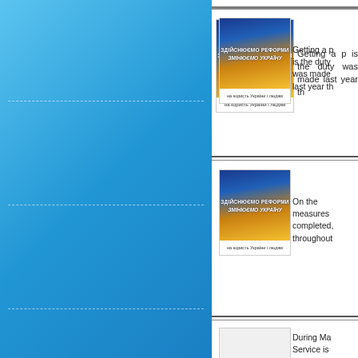[Figure (illustration): Blue gradient decorative left column panel with horizontal dashed lines]
[Figure (photo): Ukrainian reform book/brochure cover with blue and yellow Ukrainian flag design, text ЗДІЙСНЮЄМО РЕФОРМИ ЗМІНЮЄМО УКРАЇНУ and на користь України і людям]
Getting a p is the duty was made last year th
[Figure (photo): Ukrainian reform book/brochure cover with blue and yellow Ukrainian flag design, text ЗДІЙСНЮЄМО РЕФОРМИ ЗМІНЮЄМО УКРАЇНУ and на користь України і людям]
On the measures completed, throughout
[Figure (photo): Third article thumbnail image, partially visible]
During Ma Service is